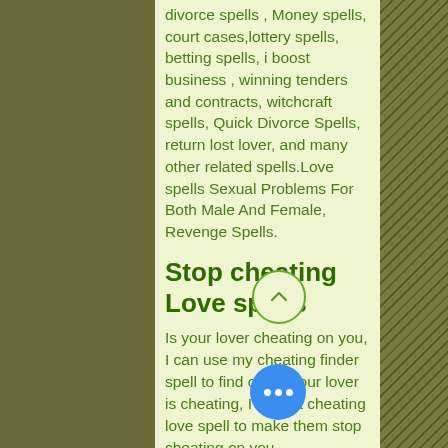divorce spells , Money spells, court cases,lottery spells, betting spells, i boost business , winning tenders and contracts, witchcraft spells, Quick Divorce Spells, return lost lover, and many other related spells.Love spells Sexual Problems For Both Male And Female, Revenge Spells.
Stop cheating Love spells
Is your lover cheating on you, I can use my cheating finder spell to find out. If your lover is cheating, I have a cheating love spell to make them stop cheating on you. With my cheating love spell, your